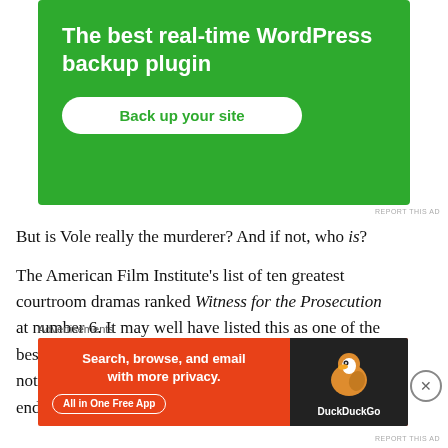[Figure (other): Green advertisement banner for WordPress backup plugin with text 'The best real-time WordPress backup plugin' and a white button 'Back up your site']
But is Vole really the murderer? And if not, who is?
The American Film Institute's list of ten greatest courtroom dramas ranked Witness for the Prosecution at number 6. It may well have listed this as one of the best films ever made when it comes to sheer suspense, not just confined to courtroom—because, till the very end, you don't know
Advertisements
[Figure (other): DuckDuckGo advertisement banner on orange/red background with text 'Search, browse, and email with more privacy. All in One Free App' and DuckDuckGo duck logo on dark background]